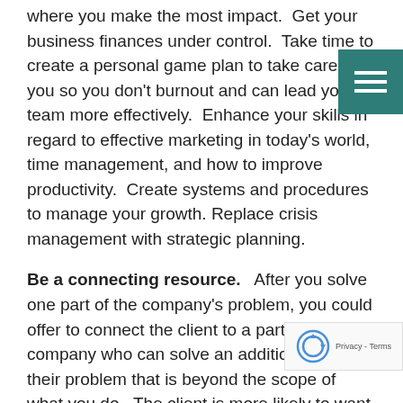where you make the most impact.  Get your business finances under control.  Take time to create a personal game plan to take care of you so you don't burnout and can lead your team more effectively.  Enhance your skills in regard to effective marketing in today's world, time management, and how to improve productivity.  Create systems and procedures to manage your growth. Replace crisis management with strategic planning.
Be a connecting resource.   After you solve one part of the company's problem, you could offer to connect the client to a partnering company who can solve an additional part of their problem that is beyond the scope of what you do.  The client is more likely to want to keep you close as you were a big help to them.  Plus, the next time they need a kind of service, you will be the foremost in their...